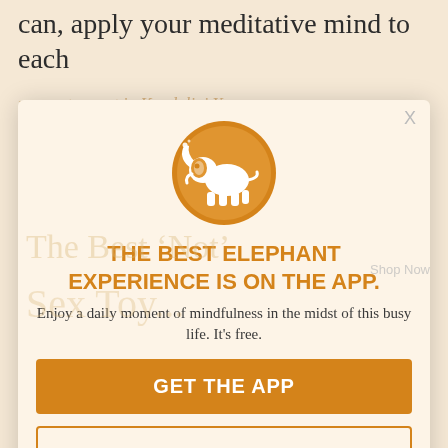can, apply your meditative mind to each
moment expert in Kundalini Yoga
[Figure (logo): Orange circle with white elephant silhouette logo for Elephant Journal app]
THE BEST ELEPHANT EXPERIENCE IS ON THE APP.
Enjoy a daily moment of mindfulness in the midst of this busy life. It's free.
GET THE APP
OPEN IN APP